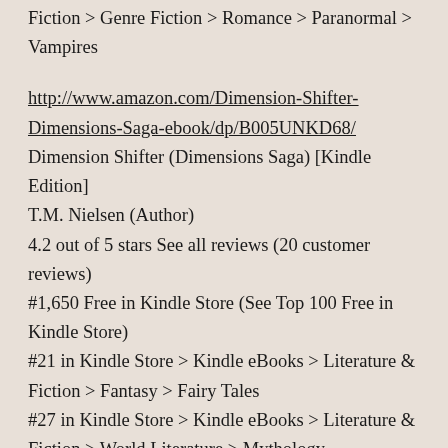Fiction > Genre Fiction > Romance > Paranormal > Vampires
http://www.amazon.com/Dimension-Shifter-Dimensions-Saga-ebook/dp/B005UNKD68/
Dimension Shifter (Dimensions Saga) [Kindle Edition]
T.M. Nielsen (Author)
4.2 out of 5 stars See all reviews (20 customer reviews)
#1,650 Free in Kindle Store (See Top 100 Free in Kindle Store)
#21 in Kindle Store > Kindle eBooks > Literature & Fiction > Fantasy > Fairy Tales
#27 in Kindle Store > Kindle eBooks > Literature & Fiction > World Literature > Mythology